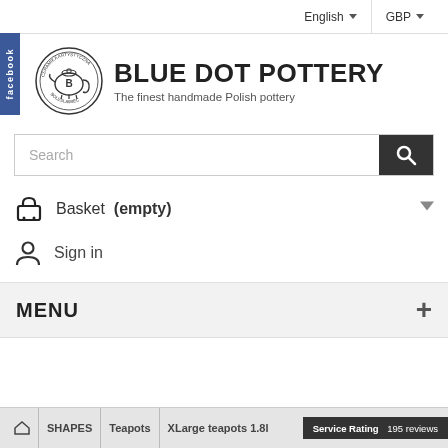English   GBP
[Figure (logo): Facebook tab on left side, blue background with 'facebook' text vertical]
[Figure (logo): Blue Dot Pottery circular logo with pottery/teapot illustration and text CERAMIKA ARTYSTYCZNA BOLESLAWIEC]
BLUE DOT POTTERY
The finest handmade Polish pottery
Search
Basket  (empty)
Sign in
MENU
Service Rating   195 reviews
SHAPES   Teapots   XLarge teapots 1.8l